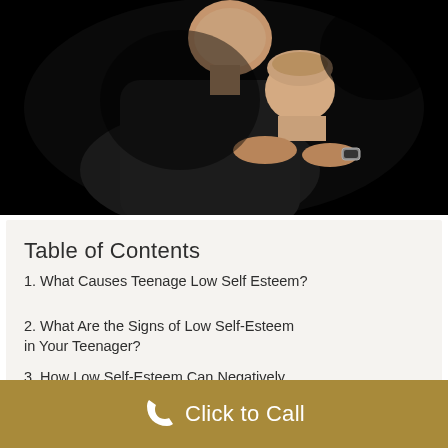[Figure (photo): An adult placing hands on the shoulders of a teenager from behind, both figures against a dark background, suggesting a supportive or comforting gesture.]
Table of Contents
1. What Causes Teenage Low Self Esteem?
2. What Are the Signs of Low Self-Esteem in Your Teenager?
3. How Low Self-Esteem Can Negatively Impact a Teen
4. 5 Tips How to Help a Teenager With Low Self-Esteem
Click to Call